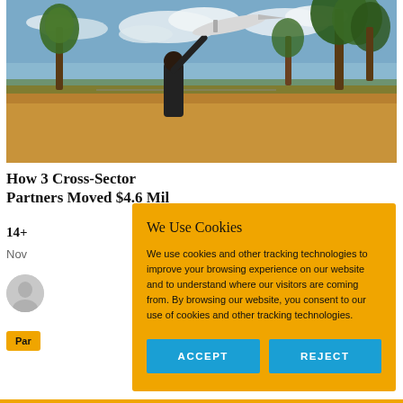[Figure (photo): A person launching a small airplane or drone outdoors in an open field with palm trees, blue sky with clouds, and dry brown ground. The person is reaching upward to release the aircraft.]
How 3 Cross-Sector Partners Moved $4.6 Mil...
14+
Nov...
[Figure (photo): Author avatar / profile photo thumbnail]
Par...
We Use Cookies

We use cookies and other tracking technologies to improve your browsing experience on our website and to understand where our visitors are coming from. By browsing our website, you consent to our use of cookies and other tracking technologies.
ACCEPT
REJECT